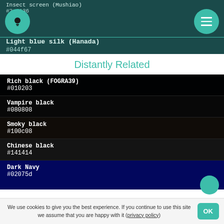[Figure (screenshot): Top banner showing color info for 'Insect screen (Mushiao)' with hex #2c4136 partially visible, and 'Light blue silk (Hanada)' with hex #044f67. Teal color circle with bulb icon on left, menu icon circle on right.]
Distantly Related
Rich black (FOGRA39)
#010203
Vampire black
#080808
Smoky black
#100c08
Chinese black
#141414
Dark Navy
#02075d
We use cookies to give you the best experience. If you continue to use this site we assume that you are happy with it (privacy policy)